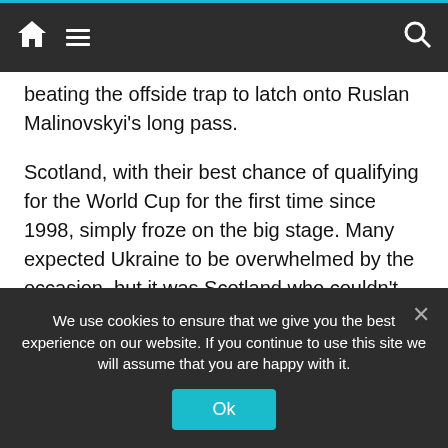Navigation bar with home, menu, and search icons
beating the offside trap to latch onto Ruslan Malinovskyi's long pass.
Scotland, with their best chance of qualifying for the World Cup for the first time since 1998, simply froze on the big stage. Many expected Ukraine to be overwhelmed by the occasion, but it was Scotland who couldn't cope with the pressure and, after being booed off at halftime, they fell further behind when Roman Yaremchuk headed in Ukraine's second on 49 minutes.
Yaremchuk, the Benfica forward, turned and
We use cookies to ensure that we give you the best experience on our website. If you continue to use this site we will assume that you are happy with it.